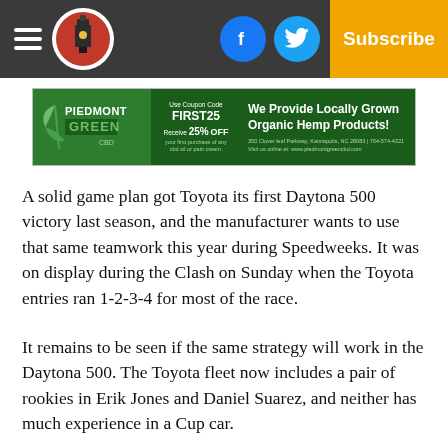Navigation bar with hamburger menu, logo, Facebook button, Twitter button, Subscribe button
[Figure (infographic): Piedmont Green CBD advertisement banner: Use Coupon Code FIRST25, Receive 25% OFF your first purchase of any cbd oil or pain cream. We Provide Locally Grown Organic Hemp Products! 350 Clover leaf Parkway, Kannapolis, NC 28083 | 704-574-4321 Visit us online at: www.piedmontgreencbd.com]
A solid game plan got Toyota its first Daytona 500 victory last season, and the manufacturer wants to use that same teamwork this year during Speedweeks. It was on display during the Clash on Sunday when the Toyota entries ran 1-2-3-4 for most of the race.
It remains to be seen if the same strategy will work in the Daytona 500. The Toyota fleet now includes a pair of rookies in Erik Jones and Daniel Suarez, and neither has much experience in a Cup car.
[Figure (infographic): Piedmont Green CBD advertisement banner: Use Coupon Code FIRST25, Receive 25% OFF your first purchase of any cbd oil or pain cream. We Provide Locally Grown Organic Hemp Products! 350 Clover leaf Parkway, Kannapolis, NC 28083 | 704-574-4321 Visit us online at: www.piedmontgreencbd.com]